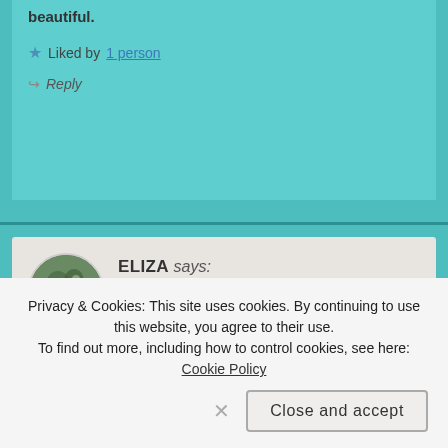beautiful.
★ Liked by 1 person
↪ Reply
ELIZA says:
JUL 18, 2020 AT 23:52
❤️❤️❤️
Privacy & Cookies: This site uses cookies. By continuing to use this website, you agree to their use.
To find out more, including how to control cookies, see here: Cookie Policy